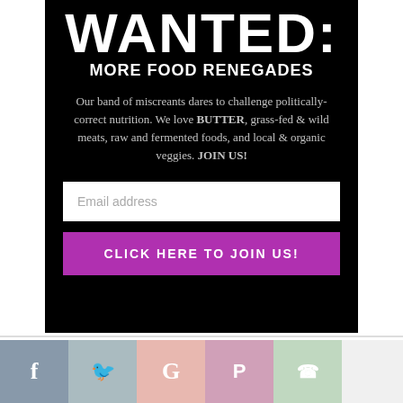WANTED:
MORE FOOD RENEGADES
Our band of miscreants dares to challenge politically-correct nutrition. We love BUTTER, grass-fed & wild meats, raw and fermented foods, and local & organic veggies. JOIN US!
Email address
CLICK HERE TO JOIN US!
[Figure (infographic): Social sharing icons row: Facebook (grey-blue), Twitter (grey-blue), Google+ (pinkish), Pinterest (mauve-pink), WhatsApp (green)]